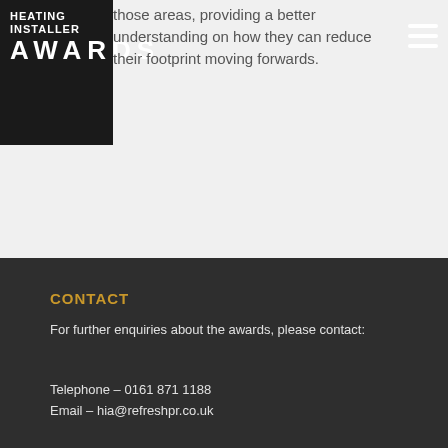[Figure (logo): Heating Installer Awards logo - white text on dark background, two lines: HEATING INSTALLER and AWARDS in large letters]
those areas, providing a better understanding on how they can reduce their footprint moving forwards.
CONTACT
For further enquiries about the awards, please contact:
Telephone – 0161 871 1188
Email – hia@refreshpr.co.uk